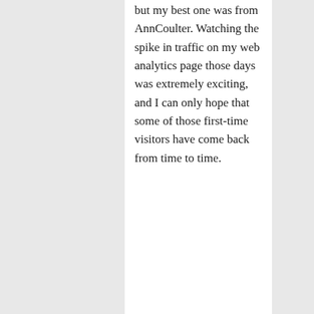but my best one was from AnnCoulter. Watching the spike in traffic on my web analytics page those days was extremely exciting, and I can only hope that some of those first-time visitors have come back from time to time.